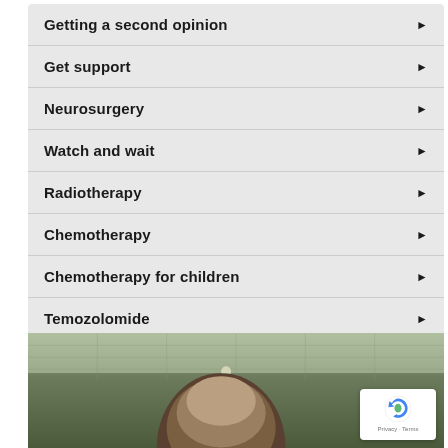Getting a second opinion
Get support
Neurosurgery
Watch and wait
Radiotherapy
Chemotherapy
Chemotherapy for children
Temozolomide
[Figure (photo): Person with dark hair photographed from behind/above in what appears to be an indoor setting with a tiled ceiling visible]